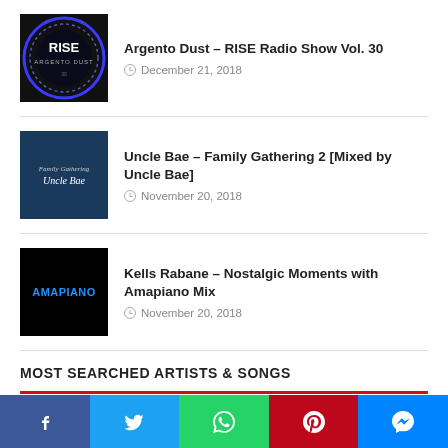Argento Dust – RISE Radio Show Vol. 30
December 21, 2018
Uncle Bae – Family Gathering 2 [Mixed by Uncle Bae]
November 20, 2018
Kells Rabane – Nostalgic Moments with Amapiano Mix
November 20, 2018
MOST SEARCHED ARTISTS & SONGS
AFRO DEEP TECH
AFRO HOUSE
AFRO HOUSE 2018